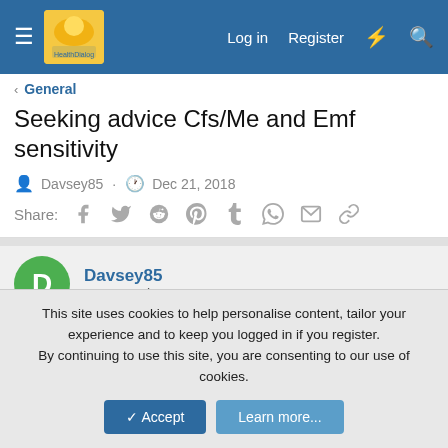HealthDialog forum header with Log in, Register navigation
General
Seeking advice Cfs/Me and Emf sensitivity
Davsey85 · Dec 21, 2018
Share: [facebook] [twitter] [reddit] [pinterest] [tumblr] [whatsapp] [email] [link]
Davsey85
New Member
Dec 21, 2018  #1
Hello everyone,
This site uses cookies to help personalise content, tailor your experience and to keep you logged in if you register.
By continuing to use this site, you are consenting to our use of cookies.